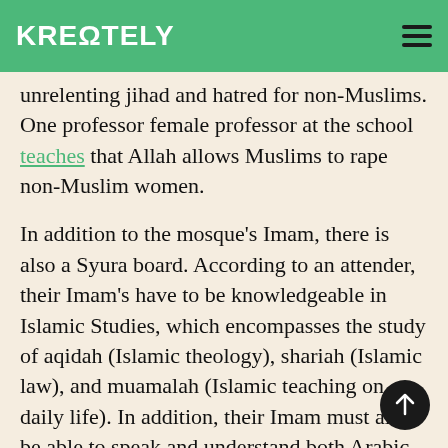KREΩTELY
unrelenting jihad and hatred for non-Muslims. One professor female professor at the school teaches that Allah allows Muslims to rape non-Muslim women.
In addition to the mosque's Imam, there is also a Syura board. According to an attender, their Imam's have to be knowledgeable in Islamic Studies, which encompasses the study of aqidah (Islamic theology), shariah (Islamic law), and muamalah (Islamic teaching on daily life). In addition, their Imam must also be able to speak and understand both Arabic and English fluently.
Review: Assessing Sharia Compliance: Child...